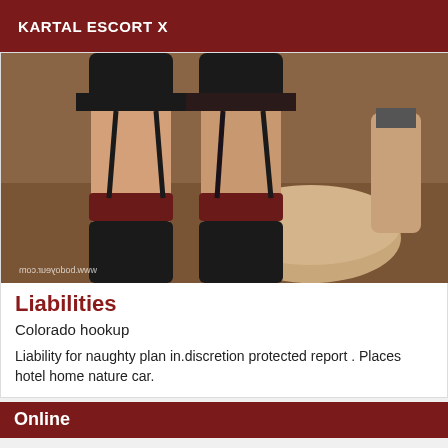KARTAL ESCORT X
[Figure (photo): Close-up photo of a person's legs wearing black stockings with dark red/maroon tops and black lingerie, standing near a round stool. Watermark reads www.bodoyeur.com (mirrored).]
Liabilities
Colorado hookup
Liability for naughty plan in.discretion protected report . Places hotel home nature car.
Online